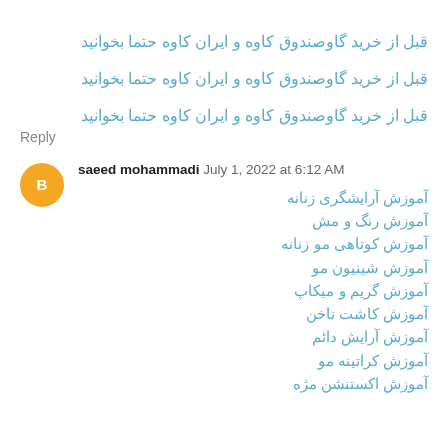قبل از خرید گاوصندوق کاوه و ایران کاوه حتما بخوانید
قبل از خرید گاوصندوق کاوه و ایران کاوه حتما بخوانید
قبل از خرید گاوصندوق کاوه و ایران کاوه حتما بخوانید
Reply
saeed mohammadi  July 1, 2022 at 6:12 AM
آموزش آرایشگری زنانه
آموزش رنگ و مش
آموزش کوتاهی مو زنانه
آموزش شینیون مو
آموزش گریم و میکاپ
آموزش کاشت ناخن
آموزش آرایش دائم
آموزش کراتینه مو
آموزش اکستنشن مژه